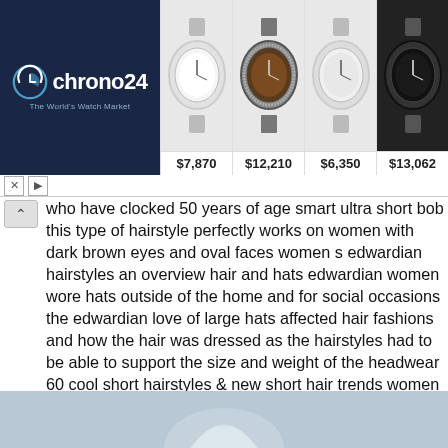[Figure (screenshot): Chrono24 watch advertisement banner showing four watches with prices: $7,870, $12,210, $6,350, $13,062. Dark navy left panel with Chrono24 logo and tagline 'The World's Watch Market'.]
who have clocked 50 years of age smart ultra short bob this type of hairstyle perfectly works on women with dark brown eyes and oval faces women s edwardian hairstyles an overview hair and hats edwardian women wore hats outside of the home and for social occasions the edwardian love of large hats affected hair fashions and how the hair was dressed as the hairstyles had to be able to support the size and weight of the headwear 60 cool short hairstyles & new short hair trends women not since the explosion of super short hairstyles burst onto the scene in 1960's swinging london have we had such a fabulous choice of smoking hot super short hairstyles for 2017 classy and nice short haircuts for older la s we asked our favorite hair pros for their easiest summer hairstyles here the tren st looks you can copy all season long test hairstyles hairstyle tester online for hair test hair styles cuts colors on your picture see endless inspirations line virtual hairstyle tester for women or men wizard option
[Figure (photo): Partial view of a photo at the bottom of the page, grey-blue background with some white shape partially visible]